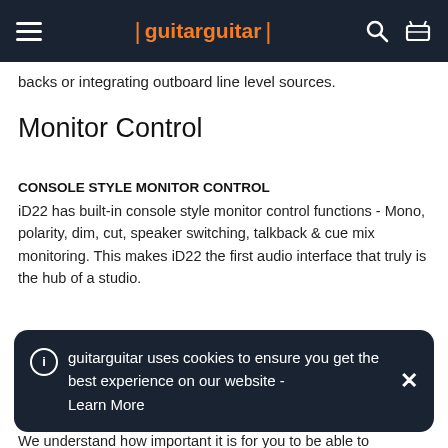guitarguitar
backs or integrating outboard line level sources.
Monitor Control
CONSOLE STYLE MONITOR CONTROL
iD22 has built-in console style monitor control functions - Mono, polarity, dim, cut, speaker switching, talkback & cue mix monitoring. This makes iD22 the first audio interface that truly is the hub of a studio.
guitarguitar uses cookies to ensure you get the best experience on our website - Learn More
CUSTOMISE YOUR CONTROL SURFACE
We understand how important it is for you to be able to